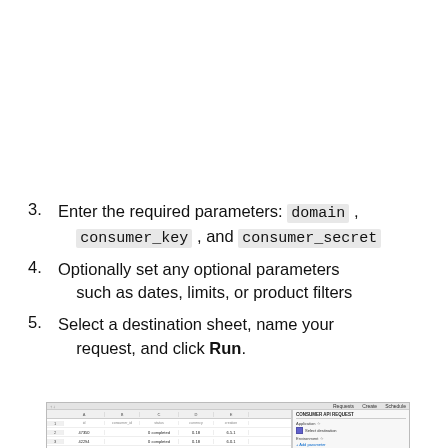3. Enter the required parameters: domain , consumer_key , and consumer_secret
4. Optionally set any optional parameters such as dates, limits, or product filters
5. Select a destination sheet, name your request, and click Run.
[Figure (screenshot): Screenshot of a spreadsheet interface showing a data table with columns for id, consumer_id, status, currency, creation and a sidebar panel labeled CONSUMER API REQUEST with Application field and a checkbox for selected destination.]